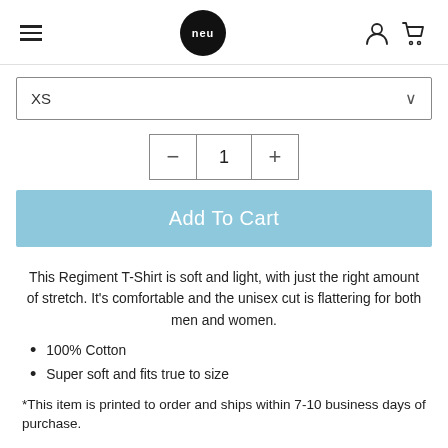NEU logo, hamburger menu, account icon, cart icon
[Figure (screenshot): Size selector dropdown showing XS with chevron]
[Figure (screenshot): Quantity selector with minus button, 1, plus button]
[Figure (screenshot): Add To Cart button in light blue]
This Regiment T-Shirt is soft and light, with just the right amount of stretch. It's comfortable and the unisex cut is flattering for both men and women.
100% Cotton
Super soft and fits true to size
*This item is printed to order and ships within 7-10 business days of purchase.